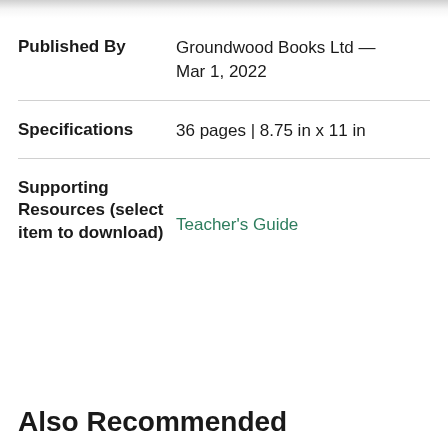| Field | Value |
| --- | --- |
| Published By | Groundwood Books Ltd — Mar 1, 2022 |
| Specifications | 36 pages | 8.75 in x 11 in |
| Supporting Resources (select item to download) | Teacher's Guide |
Also Recommended